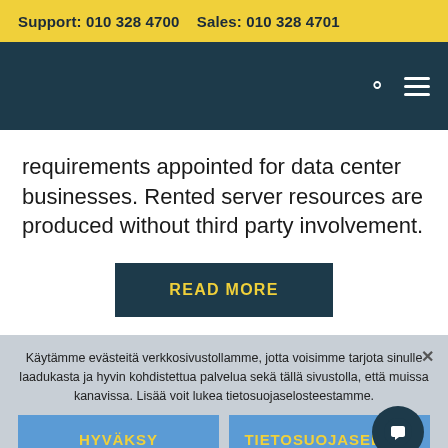Support: 010 328 4700    Sales: 010 328 4701
requirements appointed for data center businesses. Rented server resources are produced without third party involvement.
READ MORE
Käytämme evästeitä verkkosivustollamme, jotta voisimme tarjota sinulle laadukasta ja hyvin kohdistettua palvelua sekä tällä sivustolla, että muissa kanavissa. Lisää voit lukea tietosuojaselosteestamme.
HYVÄKSY
TIETOSUOJASELOST